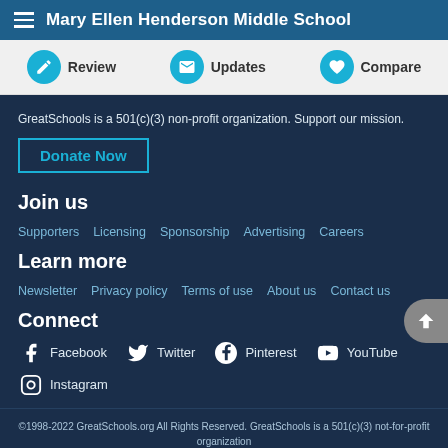Mary Ellen Henderson Middle School
Review  Updates  Compare
GreatSchools is a 501(c)(3) non-profit organization. Support our mission.
Donate Now
Join us
Supporters
Licensing
Sponsorship
Advertising
Careers
Learn more
Newsletter
Privacy policy
Terms of use
About us
Contact us
Connect
Facebook
Twitter
Pinterest
YouTube
Instagram
©1998-2022 GreatSchools.org All Rights Reserved. GreatSchools is a 501(c)(3) not-for-profit organization